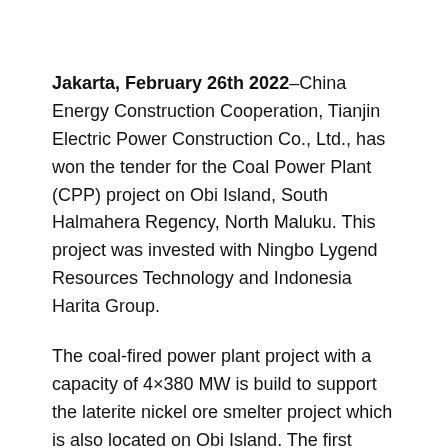Jakarta, February 26th 2022–China Energy Construction Cooperation, Tianjin Electric Power Construction Co., Ltd., has won the tender for the Coal Power Plant (CPP) project on Obi Island, South Halmahera Regency, North Maluku. This project was invested with Ningbo Lygend Resources Technology and Indonesia Harita Group.
The coal-fired power plant project with a capacity of 4×380 MW is build to support the laterite nickel ore smelter project which is also located on Obi Island. The first phase of the project includes the construction and installation of the system. The target is that the CPP is claimed to supply energy sources for the development of nickel smelters as raw